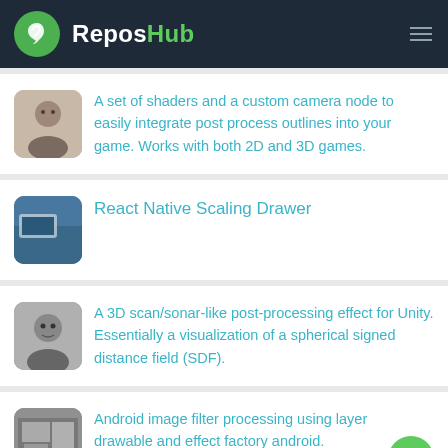ReposHub
A set of shaders and a custom camera node to easily integrate post process outlines into your game. Works with both 2D and 3D games.
React Native Scaling Drawer
A 3D scan/sonar-like post-processing effect for Unity. Essentially a visualization of a spherical signed distance field (SDF).
Android image filter processing using layer drawable and effect factory android.